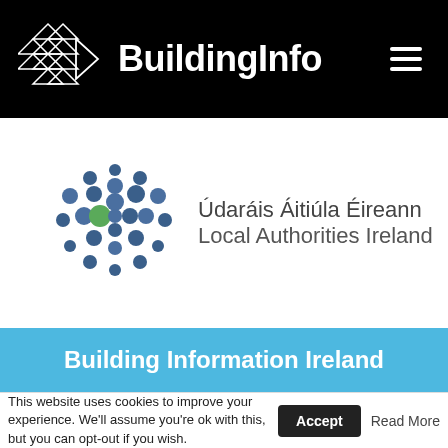[Figure (logo): BuildingInfo website header with logo (geometric triangles and play-button shapes) and 'BuildingInfo' text in white on black background, with hamburger menu icon on the right]
[Figure (logo): Local Authorities Ireland / Údaráis Áitiúla Éireann logo: circular arrangement of blue and green dots on white background, with text 'Údaráis Áitiúla Éireann Local Authorities Ireland']
Building Information Ireland
This website uses cookies to improve your experience. We'll assume you're ok with this, but you can opt-out if you wish.
Accept
Read More